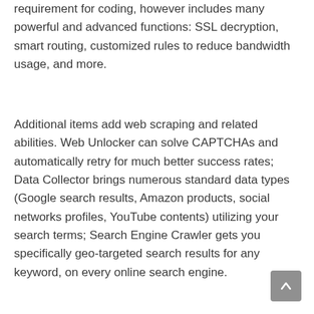requirement for coding, however includes many powerful and advanced functions: SSL decryption, smart routing, customized rules to reduce bandwidth usage, and more.
Additional items add web scraping and related abilities. Web Unlocker can solve CAPTCHAs and automatically retry for much better success rates; Data Collector brings numerous standard data types (Google search results, Amazon products, social networks profiles, YouTube contents) utilizing your search terms; Search Engine Crawler gets you specifically geo-targeted search results for any keyword, on every online search engine.